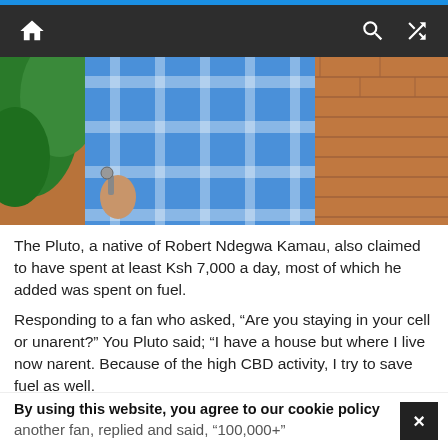Navigation bar with home, search, and shuffle icons
[Figure (photo): Person wearing a blue and white plaid/checkered shirt, holding something, standing against a brick wall with green plants in background. Only torso visible.]
The Pluto, a native of Robert Ndegwa Kamau, also claimed to have spent at least Ksh 7,000 a day, most of which he added was spent on fuel.
Responding to a fan who asked, “Are you staying in your cell or unarent?” You Pluto said; “I have a house but where I live now narent. Because of the high CBD activity, I try to save fuel as well.
By using this website, you agree to our cookie policy
another fan, replied and said, “100,000+”